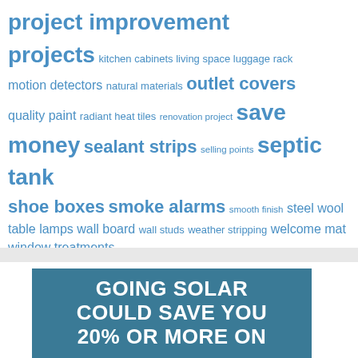project improvement projects kitchen cabinets living space luggage rack motion detectors natural materials outlet covers quality paint radiant heat tiles renovation project save money sealant strips selling points septic tank shoe boxes smoke alarms smooth finish steel wool table lamps wall board wall studs weather stripping welcome mat window treatments
[Figure (infographic): Blue banner with white bold text reading 'GOING SOLAR COULD SAVE YOU 20% OR MORE ON']